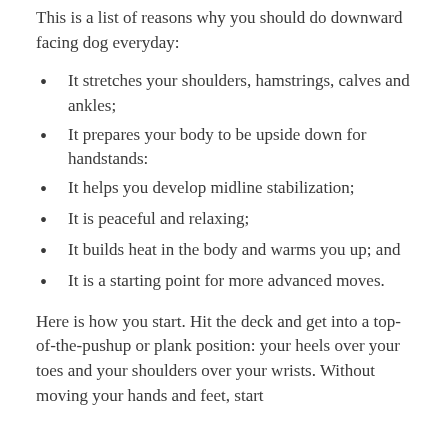This is a list of reasons why you should do downward facing dog everyday:
It stretches your shoulders, hamstrings, calves and ankles;
It prepares your body to be upside down for handstands:
It helps you develop midline stabilization;
It is peaceful and relaxing;
It builds heat in the body and warms you up; and
It is a starting point for more advanced moves.
Here is how you start. Hit the deck and get into a top-of-the-pushup or plank position: your heels over your toes and your shoulders over your wrists. Without moving your hands and feet, start